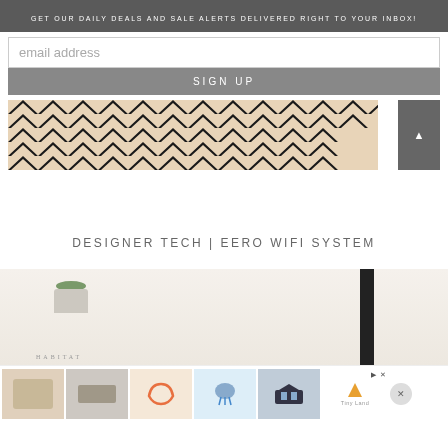GET OUR DAILY DEALS AND SALE ALERTS DELIVERED RIGHT TO YOUR INBOX!
email address
SIGN UP
[Figure (photo): Chevron pattern rug/textile in black and cream/beige zigzag pattern with arrow navigation button]
DESIGNER TECH | EERO WIFI SYSTEM
[Figure (photo): Shelf with succulent plant in white pot, books including one labeled HABITAT, black vertical bar divider, light neutral background]
[Figure (photo): Advertisement strip with thumbnail images of children's products and Tiny Land logo]